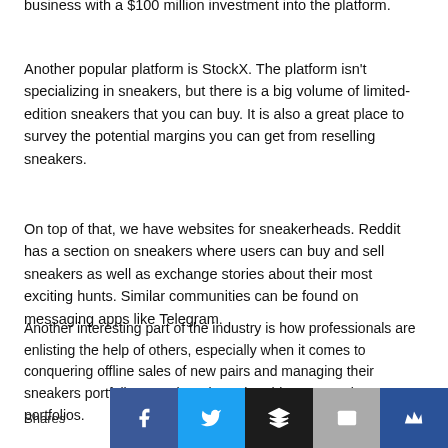business with a $100 million investment into the platform.
Another popular platform is StockX. The platform isn't specializing in sneakers, but there is a big volume of limited-edition sneakers that you can buy. It is also a great place to survey the potential margins you can get from reselling sneakers.
On top of that, we have websites for sneakerheads. Reddit has a section on sneakers where users can buy and sell sneakers as well as exchange stories about their most exciting hunts. Similar communities can be found on messaging apps like Telegram.
Another interesting part of the industry is how professionals are enlisting the help of others, especially when it comes to conquering offline sales of new pairs and managing their sneakers portfolio. Yes, there is such a thing as sneakers portfolios.
Shares [Facebook] [Twitter] [Buffer] [Mail] [Crown]